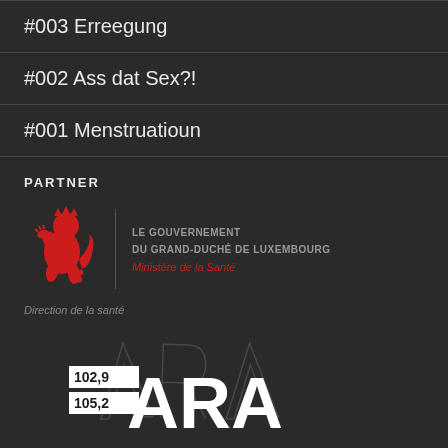#003 Erreegung
#002 Ass dat Sex?!
#001 Menstruatioun
PARTNER
[Figure (logo): Luxembourg Government logo with red lion and text: LE GOUVERNEMENT DU GRAND-DUCHÉ DE LUXEMBOURG, Ministère de la Santé, Direction de la santé]
[Figure (logo): ARA Radio logo with frequencies 102,9 and 105,2]